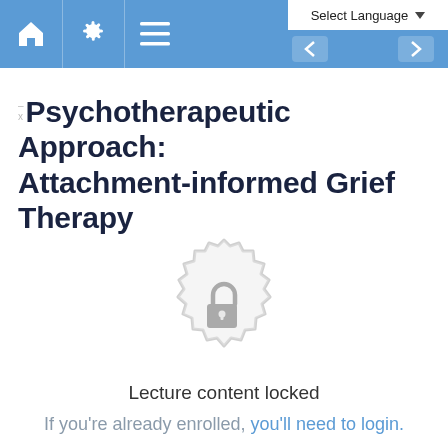Select Language | ▼
Psychotherapeutic Approach: Attachment-informed Grief Therapy
[Figure (illustration): A circular badge/seal icon in light gray with a padlock icon in the center, indicating locked content.]
Lecture content locked
If you're already enrolled, you'll need to login.